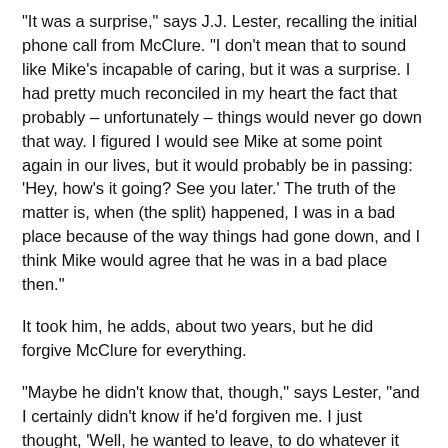"It was a surprise," says J.J. Lester, recalling the initial phone call from McClure. "I don't mean that to sound like Mike's incapable of caring, but it was a surprise. I had pretty much reconciled in my heart the fact that probably – unfortunately – things would never go down that way. I figured I would see Mike at some point again in our lives, but it would probably be in passing: 'Hey, how's it going? See you later.' The truth of the matter is, when (the split) happened, I was in a bad place because of the way things had gone down, and I think Mike would agree that he was in a bad place then."
It took him, he adds, about two years, but he did forgive McClure for everything.
"Maybe he didn't know that, though," says Lester, "and I certainly didn't know if he'd forgiven me. I just thought, 'Well, he wanted to leave, to do whatever it was he needed to do to get wherever he thought he needed to be, and I'm not going to be the one to bother him.'"
It's likely that the other two members felt much the same way. But with the air cleared, all four of them were then able to begin doing something together they'd rarely done before. Meeting at what Lester describes as "a secret location" halfway between Ada